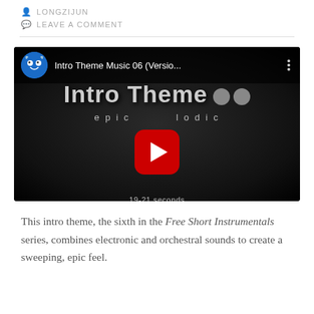LONGZIJUN
LEAVE A COMMENT
[Figure (screenshot): YouTube video thumbnail for 'Intro Theme Music 06 (Versio...' showing a dark background with the text 'Intro Theme ●●', 'epic...lodic', '19-21 seconds', a YouTube play button, and a channel avatar of a blue monster character.]
This intro theme, the sixth in the Free Short Instrumentals series, combines electronic and orchestral sounds to create a sweeping, epic feel.